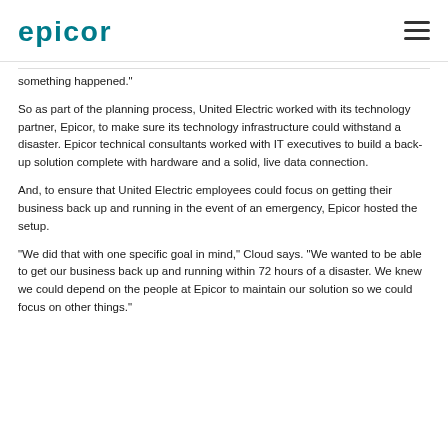EPICOR
something happened."
So as part of the planning process, United Electric worked with its technology partner, Epicor, to make sure its technology infrastructure could withstand a disaster. Epicor technical consultants worked with IT executives to build a back-up solution complete with hardware and a solid, live data connection.
And, to ensure that United Electric employees could focus on getting their business back up and running in the event of an emergency, Epicor hosted the setup.
"We did that with one specific goal in mind," Cloud says. "We wanted to be able to get our business back up and running within 72 hours of a disaster. We knew we could depend on the people at Epicor to maintain our solution so we could focus on other things."